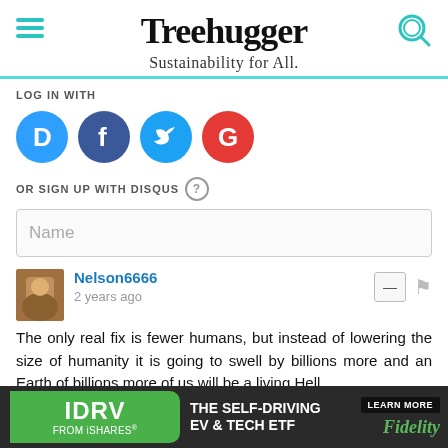Treehugger — Sustainability for All.
LOG IN WITH
[Figure (infographic): Social login buttons: Disqus (blue), Facebook (dark blue), Twitter (light blue), Google (red)]
OR SIGN UP WITH DISQUS
Name
Nelson6666 — 2 years ago
The only real fix is fewer humans, but instead of lowering the size of humanity it is going to swell by billions more and an Earth of billions more of us will be a living Hell.
2  Reply
[Figure (infographic): IDRV from iShares advertisement: The Self-Driving EV & Tech ETF — Learn More — Fidelity]